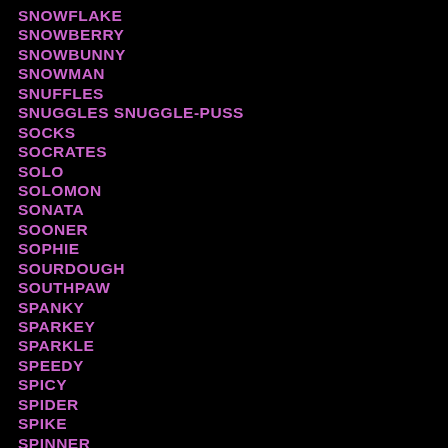SNOWFLAKE
SNOWBERRY
SNOWBUNNY
SNOWMAN
SNUFFLES
SNUGGLES SNUGGLE-PUSS
SOCKS
SOCRATES
SOLO
SOLOMON
SONATA
SOONER
SOPHIE
SOURDOUGH
SOUTHPAW
SPANKY
SPARKEY
SPARKLE
SPEEDY
SPICY
SPIDER
SPIKE
SPINNER
SPIRIT
SPITFIRE